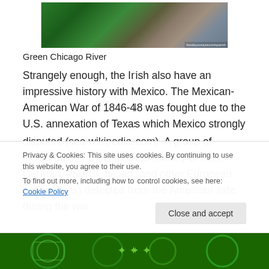[Figure (photo): Green Chicago River photo with watermark text]
Green Chicago River
Strangely enough, the Irish also have an impressive history with Mexico. The Mexican-American War of 1846-48 was fought due to the U.S. annexation of Texas which Mexico strongly disputed (see wikipedia.com). A group of immigrants and expatriates (mainly of Irish, German, French, Italian, and other European nationalities) defected from the American side during the war.
Privacy & Cookies: This site uses cookies. By continuing to use this website, you agree to their use.
To find out more, including how to control cookies, see here: Cookie Policy
[Figure (photo): Green decorative image at bottom of page]